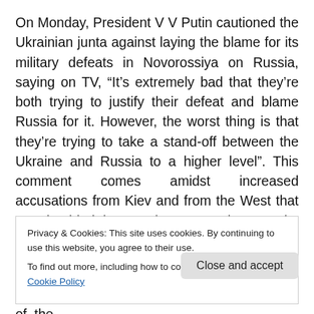On Monday, President V V Putin cautioned the Ukrainian junta against laying the blame for its military defeats in Novorossiya on Russia, saying on TV, “It’s extremely bad that they’re both trying to justify their defeat and blame Russia for it. However, the worst thing is that they’re trying to take a stand-off between the Ukraine and Russia to a higher level”. This comment comes amidst increased accusations from Kiev and from the West that Russia aided the VSN in Novorossiya to make territorial gains, specifically around the strategic rail hub of Debaltsevo. The town was a hotly contested area for days before the
Privacy & Cookies: This site uses cookies. By continuing to use this website, you agree to their use.
To find out more, including how to control cookies, see here: Cookie Policy
Close and accept
equally interested in a peaceful resolution of the